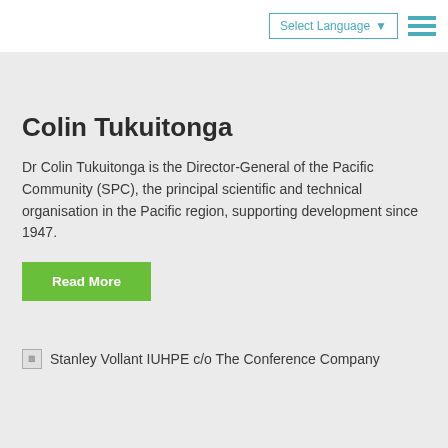Select Language ▾
Colin Tukuitonga
Dr Colin Tukuitonga is the Director-General of the Pacific Community (SPC), the principal scientific and technical organisation in the Pacific region, supporting development since 1947.
Read More
Stanley Vollant IUHPE c/o The Conference Company